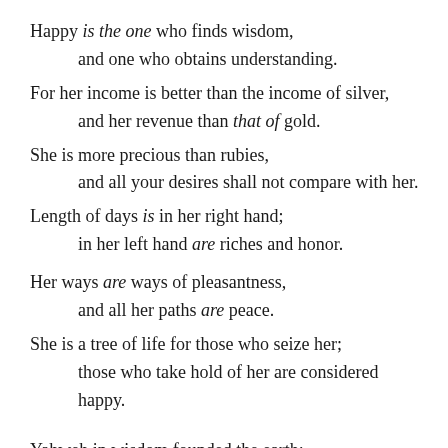Happy is the one who finds wisdom, and one who obtains understanding. For her income is better than the income of silver, and her revenue than that of gold. She is more precious than rubies, and all your desires shall not compare with her. Length of days is in her right hand; in her left hand are riches and honor. Her ways are ways of pleasantness, and all her paths are peace. She is a tree of life for those who seize her; those who take hold of her are considered happy. Yahweh in wisdom founded the earth;